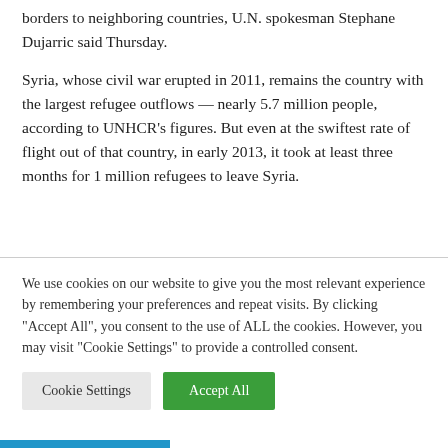borders to neighboring countries, U.N. spokesman Stephane Dujarric said Thursday.
Syria, whose civil war erupted in 2011, remains the country with the largest refugee outflows — nearly 5.7 million people, according to UNHCR's figures. But even at the swiftest rate of flight out of that country, in early 2013, it took at least three months for 1 million refugees to leave Syria.
We use cookies on our website to give you the most relevant experience by remembering your preferences and repeat visits. By clicking "Accept All", you consent to the use of ALL the cookies. However, you may visit "Cookie Settings" to provide a controlled consent.